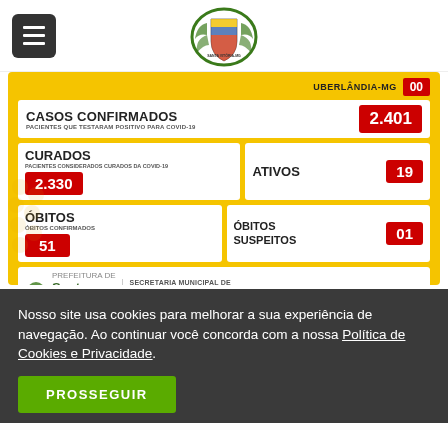Santa Vitória municipal government website header with menu icon and city crest logo
[Figure (infographic): COVID-19 statistics infographic for Santa Vitória-MG. Casos Confirmados: 2.401, Curados: 2.330, Ativos: 19, Óbitos: 51, Óbitos Suspeitos: 01, Uberlândia-MG: 00]
Nosso site usa cookies para melhorar a sua experiência de navegação. Ao continuar você concorda com a nossa Política de Cookies e Privacidade.
PROSSEGUIR